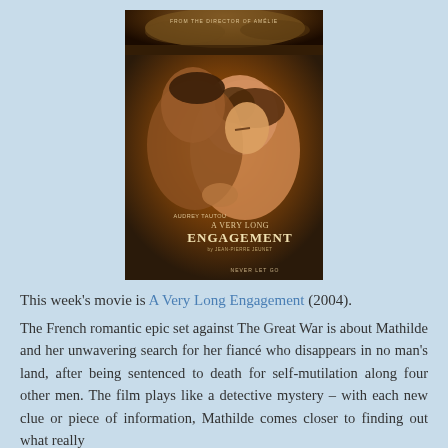[Figure (photo): Movie poster for 'A Very Long Engagement' (2004) directed by Jean-Pierre Jeunet, starring Audrey Tautou. Shows two figures — a man and a woman — in a warm golden-brown toned romantic embrace. Text on poster reads: 'FROM THE DIRECTOR OF AMÉLIE', 'AUDREY TAUTOU', 'A VERY LONG ENGAGEMENT', 'By JEAN-PIERRE JEUNET', 'NEVER LET GO'.]
This week's movie is A Very Long Engagement (2004).
The French romantic epic set against The Great War is about Mathilde and her unwavering search for her fiancé who disappears in no man's land, after being sentenced to death for self-mutilation along four other men. The film plays like a detective mystery – with each new clue or piece of information, Mathilde comes closer to finding out what really